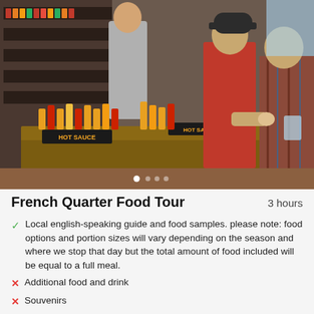[Figure (photo): People browsing a hot sauce shop display with many bottles and 'HOT SAUCE' signs on wooden shelves. Two people in foreground examining products; one in red shirt and one in plaid shirt.]
French Quarter Food Tour
3 hours
Local english-speaking guide and food samples. please note: food options and portion sizes will vary depending on the season and where we stop that day but the total amount of food included will be equal to a full meal.
Additional food and drink
Souvenirs
Tips/gratuities for your guide.